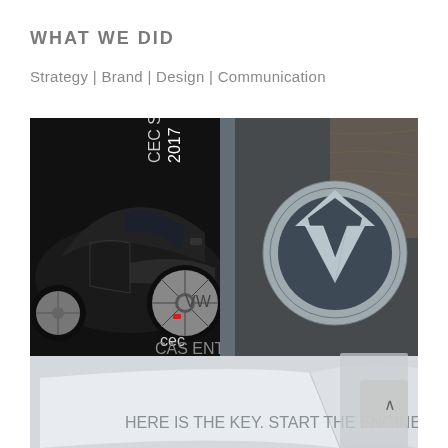WHAT WE DID
Strategy | Brand | Design | Communication
[Figure (photo): Composite photo showing a dark VW Beetle car catalog cover with '2017' text and CEC logo on the left, and a close-up of a Volkswagen (VW) chrome logo badge on a silver/grey brochure on the right. Below is a partial view of an open booklet/brochure.]